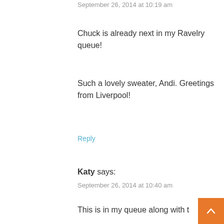September 26, 2014 at 10:19 am
Chuck is already next in my Ravelry queue!
Such a lovely sweater, Andi. Greetings from Liverpool!
Reply
Katy says:
September 26, 2014 at 10:40 am
This is in my queue along with t… Marion!